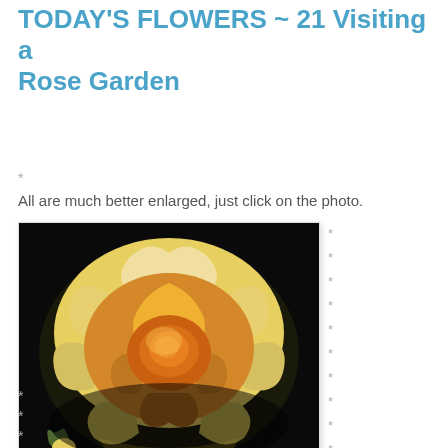TODAY'S FLOWERS ~ 21 Visiting a Rose Garden
*
All are much better enlarged, just click on the photo.
[Figure (photo): Close-up photograph of a yellow and orange rose with layered petals against a dark black background. The rose is brightly lit showing golden-yellow outer petals with orange-amber tones toward the center. A small bud and green leaves are faintly visible at the lower left.]
* (repeated decorative asterisks in right column)
*
*
*